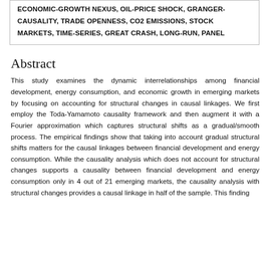ECONOMIC-GROWTH NEXUS, OIL-PRICE SHOCK, GRANGER-CAUSALITY, TRADE OPENNESS, CO2 EMISSIONS, STOCK MARKETS, TIME-SERIES, GREAT CRASH, LONG-RUN, PANEL
Abstract
This study examines the dynamic interrelationships among financial development, energy consumption, and economic growth in emerging markets by focusing on accounting for structural changes in causal linkages. We first employ the Toda-Yamamoto causality framework and then augment it with a Fourier approximation which captures structural shifts as a gradual/smooth process. The empirical findings show that taking into account gradual structural shifts matters for the causal linkages between financial development and energy consumption. While the causality analysis which does not account for structural changes supports a causality between financial development and energy consumption only in 4 out of 21 emerging markets, the causality analysis with structural changes provides a causal linkage in half of the sample. This finding